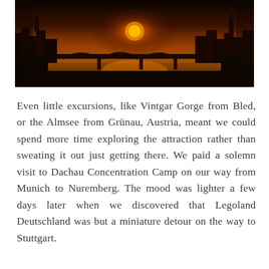[Figure (photo): A sunset or sunrise photo showing a cityscape with a river, bridges, and buildings silhouetted against an orange glowing sky. The overall tone is dark with warm orange and golden light at the horizon.]
Even little excursions, like Vintgar Gorge from Bled, or the Almsee from Grünau, Austria, meant we could spend more time exploring the attraction rather than sweating it out just getting there. We paid a solemn visit to Dachau Concentration Camp on our way from Munich to Nuremberg. The mood was lighter a few days later when we discovered that Legoland Deutschland was but a miniature detour on the way to Stuttgart.